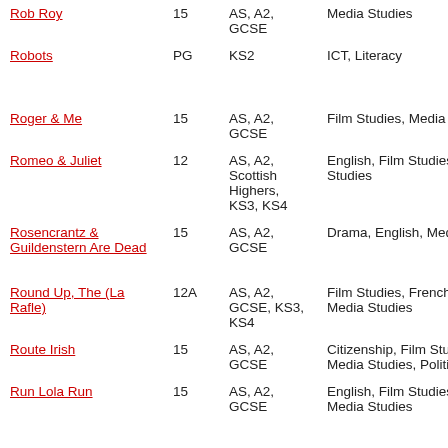| Film | Rating | Level | Subject |
| --- | --- | --- | --- |
| Rob Roy | 15 | AS, A2, GCSE | Media Studies |
| Robots | PG | KS2 | ICT, Literacy |
| Roger & Me | 15 | AS, A2, GCSE | Film Studies, Media S... |
| Romeo & Juliet | 12 | AS, A2, Scottish Highers, KS3, KS4 | English, Film Studies, Studies |
| Rosencrantz & Guildenstern Are Dead | 15 | AS, A2, GCSE | Drama, English, Med... |
| Round Up, The (La Rafle) | 12A | AS, A2, GCSE, KS3, KS4 | Film Studies, French, Media Studies |
| Route Irish | 15 | AS, A2, GCSE | Citizenship, Film Stu..., Media Studies, Politic... |
| Run Lola Run | 15 | AS, A2, GCSE | English, Film Studies, Media Studies |